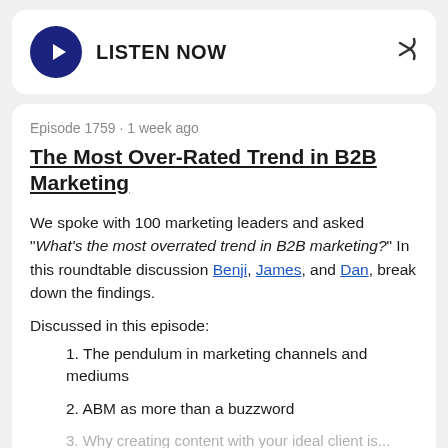[Figure (other): Play button card with LISTEN NOW label and share arrow icon]
Episode 1759 · 1 week ago
The Most Over-Rated Trend in B2B Marketing
We spoke with 100 marketing leaders and asked "What's the most overrated trend in B2B marketing?" In this roundtable discussion Benji, James, and Dan, break down the findings.
Discussed in this episode:
1. The pendulum in marketing channels and mediums
2. ABM as more than a buzzword
3. Why creating content with your ideal client is...